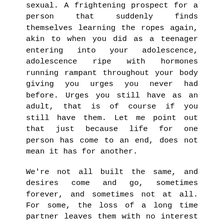sexual. A frightening prospect for a person that suddenly finds themselves learning the ropes again, akin to when you did as a teenager entering into your adolescence, adolescence ripe with hormones running rampant throughout your body giving you urges you never had before. Urges you still have as an adult, that is of course if you still have them. Let me point out that just because life for one person has come to an end, does not mean it has for another.
We're not all built the same, and desires come and go, sometimes forever, and sometimes not at all. For some, the loss of a long time partner leaves them with no interest in sex at all, of any kind, and for others, it can give them an insatiable drive. We are all different, I for one am quite happy with my drive, to say the least.
For the sexually active, having sex within society's legal age definition, should be new, exciting, exhilarating, and certainly satisfying. When it comes to self satisfaction, for the women, there is a multitude of toys, lotions, potions, and techniques that have been readily available since the start of the 20th century when the medical affliction “hysteria” went from a diagnosis to a human need. Since then women have had access to a multitude of educational material and an overall general acknowledgment